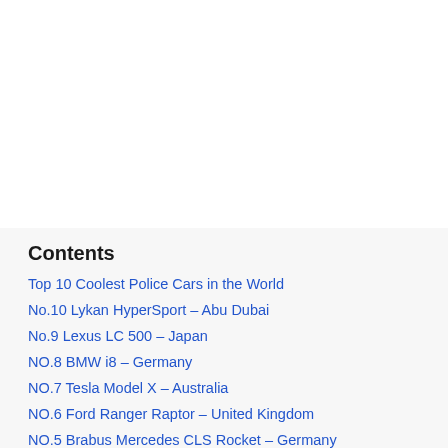Contents
Top 10 Coolest Police Cars in the World
No.10 Lykan HyperSport – Abu Dubai
No.9 Lexus LC 500 – Japan
NO.8 BMW i8 – Germany
NO.7 Tesla Model X – Australia
NO.6 Ford Ranger Raptor – United Kingdom
NO.5 Brabus Mercedes CLS Rocket – Germany